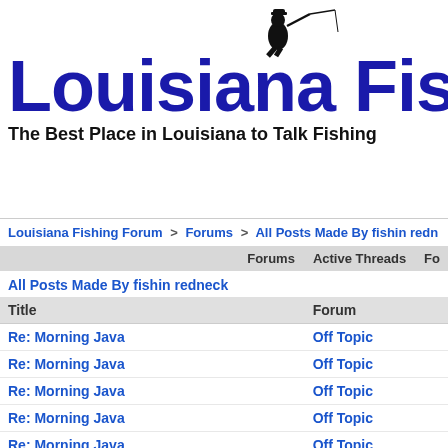[Figure (logo): Louisiana Fishing Forum logo with silhouette of a fisherman and bold blue text reading 'Louisiana Fishing' and tagline 'The Best Place in Louisiana to Talk Fishing']
Louisiana Fishing Forum > Forums > All Posts Made By fishin redneck
Forums   Active Threads   Fo
All Posts Made By fishin redneck
| Title | Forum |
| --- | --- |
| Re: Morning Java | Off Topic |
| Re: Morning Java | Off Topic |
| Re: Morning Java | Off Topic |
| Re: Morning Java | Off Topic |
| Re: Morning Java | Off Topic |
| Re: Morning Java | Off Topic |